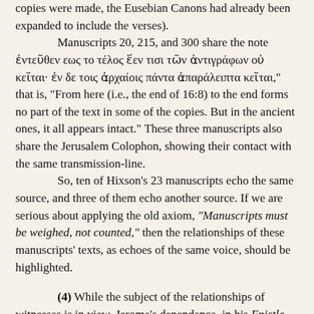copies were made, the Eusebian Canons had already been expanded to include the verses).

Manuscripts 20, 215, and 300 share the note ἐντεῦθεν εως το τέλος ἕεν τισι τῶν ἀντιγράφων οὐ κεῖται· ἐν δε τοις ἀρχαίοις πάντα ἀπαράλειπτα κεῖται," that is, "From here (i.e., the end of 16:8) to the end forms no part of the text in some of the copies. But in the ancient ones, it all appears intact."  These three manuscripts also share the Jerusalem Colophon, showing their contact with the same transmission-line.

So, ten of Hixson's 23 manuscripts echo the same source, and three of them echo another source.  If we are serious about applying the old axiom, "Manuscripts must be weighed, not counted," then the relationships of these manuscripts' texts, as echoes of the same voice, should be highlighted.
(4)  While the subject of the relationships of witnesses is in view, Jerome's dependence, in his Epistle 120, To Hedibia, upon Eusebius' earlier comments in Ad Marinum, should be revisited.  Hixson claimed:  "Even though Jerome and Severus were clearly drawing from Eusebius's work,